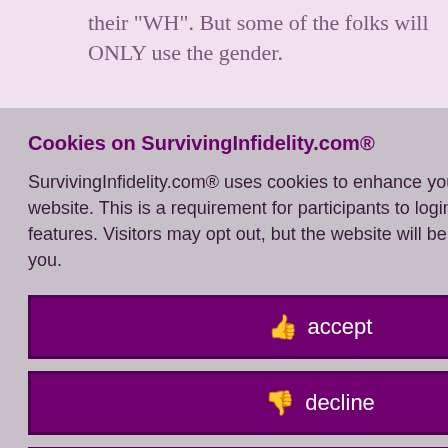their "WH". But some of the folks will ONLY use the gender.
pathize with ng penises, in ith the EXACT
natters one bit band"... they are uses.
s meme is
40 PM, July
Cookies on SurvivingInfidelity.com®
SurvivingInfidelity.com® uses cookies to enhance your visit to our website. This is a requirement for participants to login, post and use other features. Visitors may opt out, but the website will be less functional for you.
accept
decline
about cookies
Policy